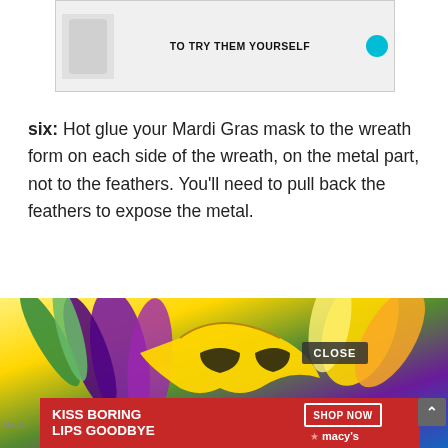[Figure (screenshot): Advertisement banner at top showing a skincare product with text 'TO TRY THEM YOURSELF']
six: Hot glue your Mardi Gras mask to the wreath form on each side of the wreath, on the metal part, not to the feathers. You'll need to pull back the feathers to expose the metal.
[Figure (photo): Mardi Gras masks and feathers in purple, green, and yellow colors with a gold glittery mask. An advertisement overlay for Macy's 'Kiss Boring Lips Goodbye' appears at the bottom with a CLOSE button and SHOP NOW button.]